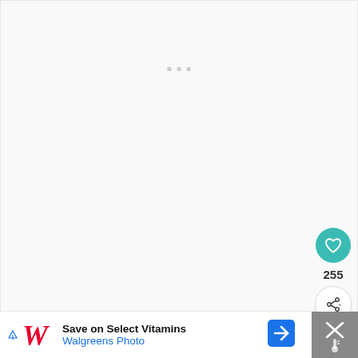[Figure (screenshot): Mostly blank white/light gray page area with three small gray square dots near the top center, representing a loading or placeholder state]
[Figure (infographic): Teal circular heart/favorite button with white heart icon, count of 255 below it, and a white circular share button with share icon]
[Figure (screenshot): Walgreens advertisement banner at the bottom: white section with Walgreens cursive W logo, text 'Save on Select Vitamins' and 'Walgreens Photo' in blue, a blue navigation arrow icon, and a dark gray close section on the right with an X icon and thermometer icon]